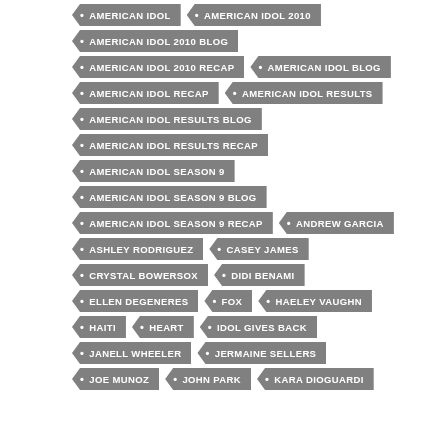AMERICAN IDOL
AMERICAN IDOL 2010
AMERICAN IDOL 2010 BLOG
AMERICAN IDOL 2010 RECAP
AMERICAN IDOL BLOG
AMERICAN IDOL RECAP
AMERICAN IDOL RESULTS
AMERICAN IDOL RESULTS BLOG
AMERICAN IDOL RESULTS RECAP
AMERICAN IDOL SEASON 9
AMERICAN IDOL SEASON 9 BLOG
AMERICAN IDOL SEASON 9 RECAP
ANDREW GARCIA
ASHLEY RODRIGUEZ
CASEY JAMES
CRYSTAL BOWERSOX
DIDI BENAMI
ELLEN DEGENERES
FOX
HAELEY VAUGHN
HAITI
HEART
IDOL GIVES BACK
JANELL WHEELER
JERMAINE SELLERS
JOE MUNOZ
JOHN PARK
KARA DIOGUARDI